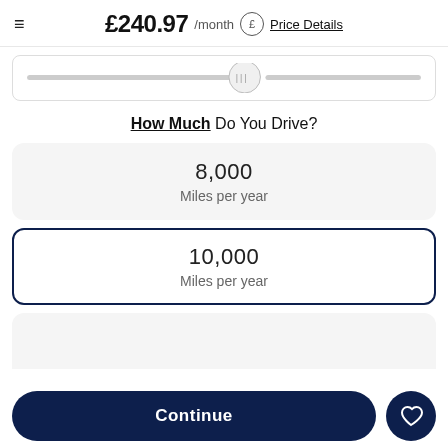£240.97 /month  Price Details
[Figure (other): Horizontal slider control with thumb handle centered on track]
How Much Do You Drive?
8,000
Miles per year
10,000
Miles per year
Continue